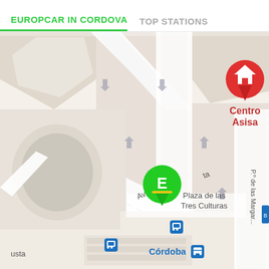EUROPCAR IN CORDOVA   TOP STATIONS
[Figure (map): Google Maps view of Córdoba city center showing streets including Av. Vía Augusta, Plaza de las Tres Culturas, P.º de las Margar..., with a green Europcar location pin marked E, bus stop icons, Córdoba train station marker, and a red Centro Asisa location marker in the top right.]